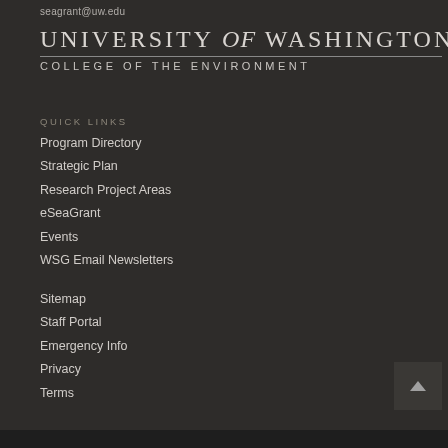seagrant@uw.edu
UNIVERSITY of WASHINGTON
COLLEGE OF THE ENVIRONMENT
QUICK LINKS
Program Directory
Strategic Plan
Research Project Areas
eSeaGrant
Events
WSG Email Newsletters
Sitemap
Staff Portal
Emergency Info
Privacy
Terms